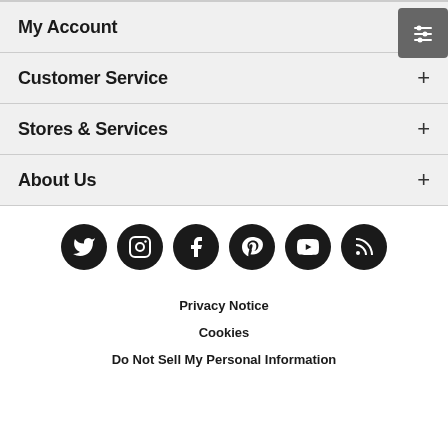My Account
Customer Service
Stores & Services
About Us
[Figure (infographic): Social media icons row: Twitter, Instagram, Facebook, Pinterest, YouTube, Blog/RSS]
Privacy Notice
Cookies
Do Not Sell My Personal Information